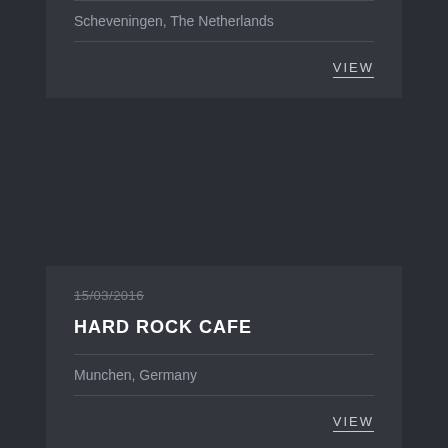Scheveningen, The Netherlands
VIEW
15/03/2016
HARD ROCK CAFE
Munchen, Germany
VIEW
05/02/2016
MELKWEG